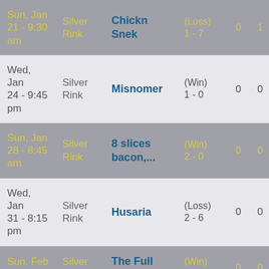| Date | Rink | Opponent | Result |  |  |
| --- | --- | --- | --- | --- | --- |
| Sun, Jan 21 - 9:30 am | Silver Rink | Chickn Snek | (Loss) 1 - 7 | 0 | 1 |
| Wed, Jan 24 - 9:45 pm | Silver Rink | Misnomer | (Win) 1 - 0 | 0 | 0 |
| Sun, Jan 28 - 8:45 am | Silver Rink | 8 slices bacon,... | (Win) 2 - 0 | 0 | 0 |
| Wed, Jan 31 - 8:15 pm | Silver Rink | Husaria | (Loss) 2 - 6 | 0 | 0 |
| Sun, Feb 4 - 8:15 | Silver Rink | The Full Senders | (Win) ?-? | 0 | 0 |